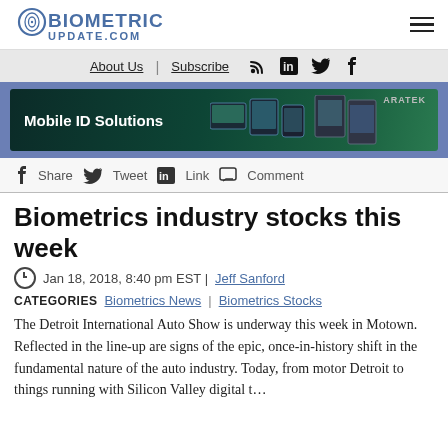BIOMETRIC UPDATE.COM
About Us | Subscribe
[Figure (screenshot): Mobile ID Solutions banner advertisement by ARATEK showing tablets and biometric devices on dark green background]
f Share  Tweet in Link  Comment
Biometrics industry stocks this week
Jan 18, 2018, 8:40 pm EST | Jeff Sanford
CATEGORIES  Biometrics News | Biometrics Stocks
The Detroit International Auto Show is underway this week in Motown. Reflected in the line-up are signs of the epic, once-in-history shift in the fundamental nature of the auto industry. Today, from motor Detroit to things running with Silicon Valley digital t…